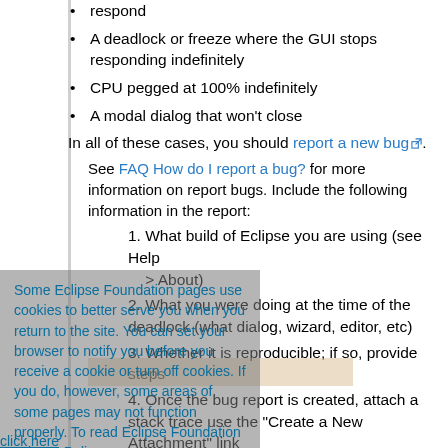respond
A deadlock or freeze where the GUI stops responding indefinitely
CPU pegged at 100% indefinitely
A modal dialog that won't close
In all of these cases, you should report a new bug. See FAQ How do I report a bug? for more information on report bugs. Include the following information in the report:
1. What build of Eclipse you are using (see Help > About)
2. What you were doing at the time of the deadlock (what dialog, wizard, editor, etc)
3. Whether it is reproducible; if so, provide steps
4. Once the bug report is created, attach a stack trace use the "Create a New Attachment" link in bugzilla.
If you are running on a Sun VM, the stack trace is typically just printed directly on the console. In this case, paste the contents into a file and then attach the file. Stack traces pasted directly into bugzilla look very ugly. On an IBM VM, the stack trace is written to a file